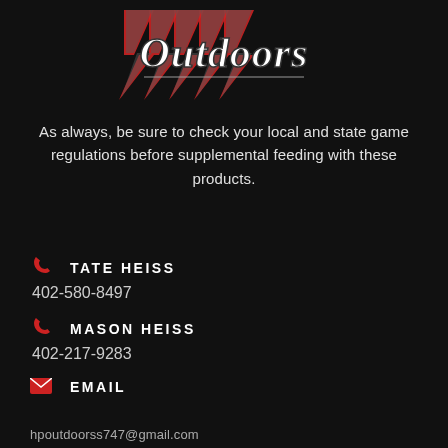[Figure (logo): Outdoors brand logo with stylized script text 'Outdoors' in white/grey with red graphic elements on dark background]
As always, be sure to check your local and state game regulations before supplemental feeding with these products.
📞 TATE HEISS
402-580-8497
📞 MASON HEISS
402-217-9283
✉ EMAIL
hpoutdoorss747@gmail.com